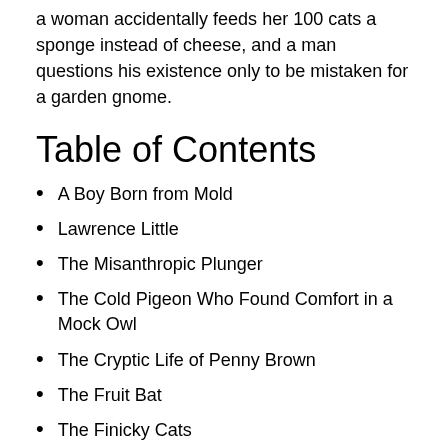a woman accidentally feeds her 100 cats a sponge instead of cheese, and a man questions his existence only to be mistaken for a garden gnome.
Table of Contents
A Boy Born from Mold
Lawrence Little
The Misanthropic Plunger
The Cold Pigeon Who Found Comfort in a Mock Owl
The Cryptic Life of Penny Brown
The Fruit Bat
The Finicky Cats
A Rare Benign Belbow (2014 Paperback edition)
Willy Nillooo and the Red-Tailed Squirrel (2014